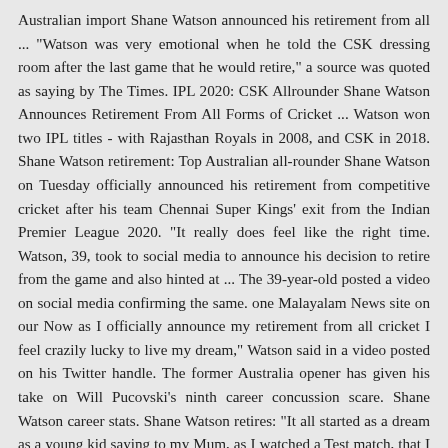Australian import Shane Watson announced his retirement from all ... "Watson was very emotional when he told the CSK dressing room after the last game that he would retire," a source was quoted as saying by The Times. IPL 2020: CSK Allrounder Shane Watson Announces Retirement From All Forms of Cricket ... Watson won two IPL titles - with Rajasthan Royals in 2008, and CSK in 2018. Shane Watson retirement: Top Australian all-rounder Shane Watson on Tuesday officially announced his retirement from competitive cricket after his team Chennai Super Kings' exit from the Indian Premier League 2020. "It really does feel like the right time. Watson, 39, took to social media to announce his decision to retire from the game and also hinted at ... The 39-year-old posted a video on social media confirming the same. one Malayalam News site on our Now as I officially announce my retirement from all cricket I feel crazily lucky to live my dream," Watson said in a video posted on his Twitter handle. The former Australia opener has given his take on Will Pucovski's ninth career concussion scare. Shane Watson career stats. Shane Watson retires: "It all started as a dream as a young kid saying to my Mum, as I watched a Test match, that I want to play for Australia. The Super Netball franchise has been fined and stripped of competition points for next season after being found guilty of deliberate cheating. "One more great performance to sign off this season of @IPL," he wrote.